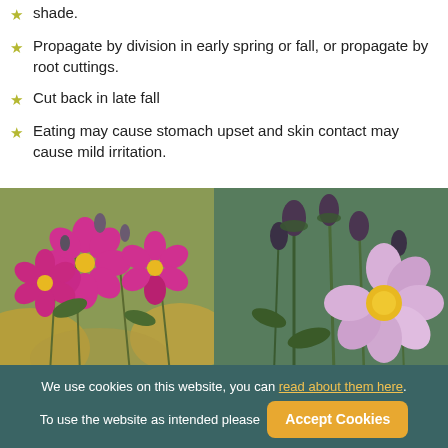shade.
Propagate by division in early spring or fall, or propagate by root cuttings.
Cut back in late fall
Eating may cause stomach upset and skin contact may cause mild irritation.
[Figure (photo): Close-up of bright pink anemone flowers with yellow centers in a garden setting]
[Figure (photo): Close-up of light pink anemone flower with yellow center and buds on green stems]
We use cookies on this website, you can read about them here. To use the website as intended please Accept Cookies